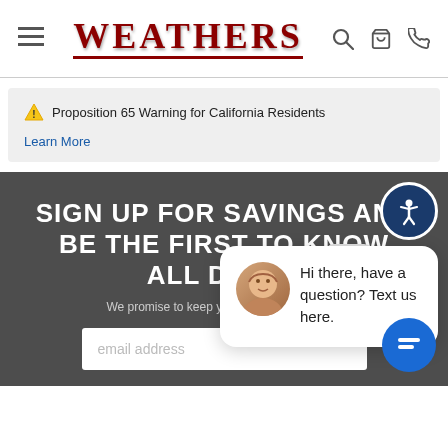WEATHERS — navigation header with hamburger menu, logo, search, cart, and phone icons
⚠ Proposition 65 Warning for California Residents
Learn More
SIGN UP FOR SAVINGS AND BE THE FIRST TO KNOW ABOUT ALL DEALS
We promise to keep your information private
email address
[Figure (screenshot): Chat popup with female avatar saying: Hi there, have a question? Text us here.]
[Figure (illustration): Accessibility icon button (person with raised arms in circle, dark blue)]
[Figure (illustration): Blue chat bubble button with message lines icon]